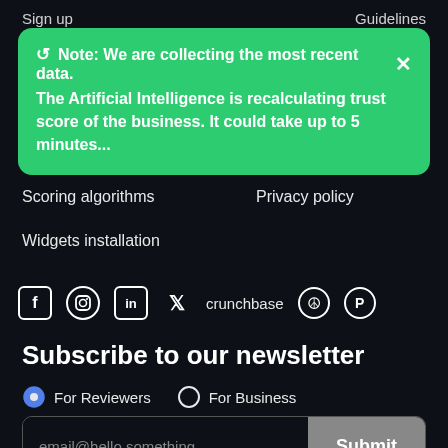Sign up  |  Guidelines
[Figure (screenshot): Green notification banner: ↺ Note: We are collecting the most recent data. The Artificial Intelligence is recalculating trust score of the business. It could take up to 5 minutes... [X close button]]
Scoring algorithms
Privacy policy
Widgets installation
[Figure (infographic): Social media icons row: Facebook, Instagram, LinkedIn, Twitter, crunchbase, Product Hunt peace icon, Product Hunt circle icon]
Subscribe to our newsletter
For Reviewers  For Business (radio buttons)
email@hello.something  Submit (email input form)